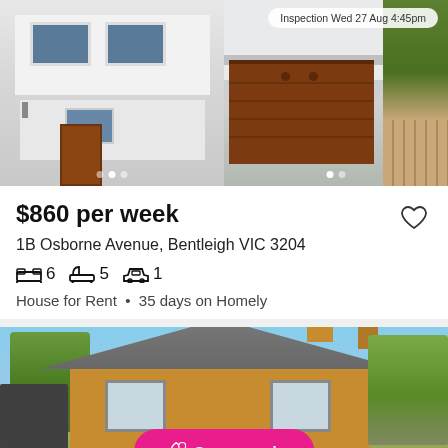[Figure (photo): Two modern white multi-storey houses side by side. Left house has blue-grey windows and a brown door. Right house shows a large brown timber garage door. Right side shows timber fence. Inspection badge visible top right.]
Inspection Wed 27 Aug 4:45pm
$860 per week
1B Osborne Avenue, Bentleigh VIC 3204
6  5  1
House for Rent • 35 days on Homely
[Figure (photo): Single-storey brick house with tiled roof, two chimneys, and trees visible. Clear blue sky in background. A 'Save search' button overlaid at bottom centre.]